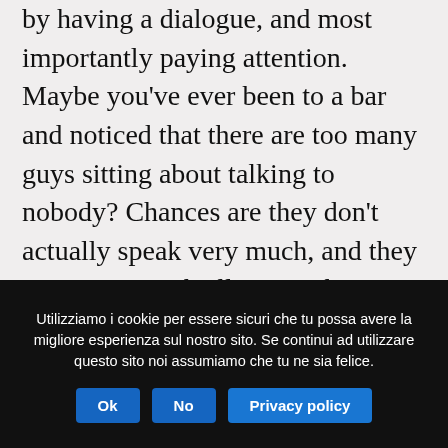by having a dialogue, and most importantly paying attention. Maybe you've ever been to a bar and noticed that there are too many guys sitting about talking to nobody? Chances are they don't actually speak very much, and they are pretty much all sitting there with their hands flattened. It's the same within a restaurant, there are too many people discussing with each other but none of them are in reality listening to what they
Utilizziamo i cookie per essere sicuri che tu possa avere la migliore esperienza sul nostro sito. Se continui ad utilizzare questo sito noi assumiamo che tu ne sia felice.